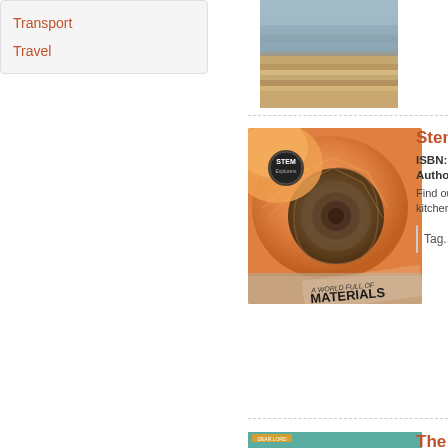Transport
Travel
[Figure (photo): Top portion of a book cover showing a textured landscape with earth tones]
[Figure (photo): Book cover: STEM Explorers - A World Full of Materials, showing a nautilus shell spiral on orange background with STEM badge]
Stem Is...
ISBN: 97819...
Author: Joh...
Find out why... kitchen at ho...
[Figure (photo): Bottom partial book cover with teal/green color - The Ha...]
The Ha...
ISBN: 97819...